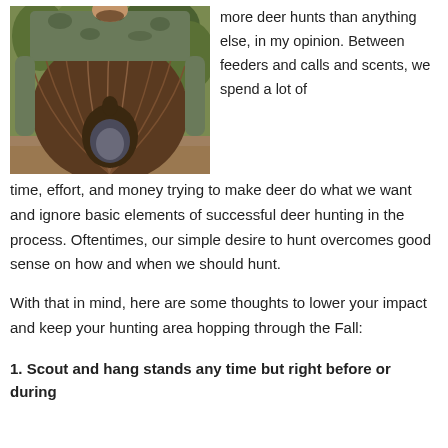[Figure (photo): A man in camouflage clothing holding up a large wild turkey with its tail feathers fanned out, photographed outdoors in a wooded setting.]
more deer hunts than anything else, in my opinion. Between feeders and calls and scents, we spend a lot of time, effort, and money trying to make deer do what we want and ignore basic elements of successful deer hunting in the process. Oftentimes, our simple desire to hunt overcomes good sense on how and when we should hunt.
With that in mind, here are some thoughts to lower your impact and keep your hunting area hopping through the Fall:
1. Scout and hang stands any time but right before or during